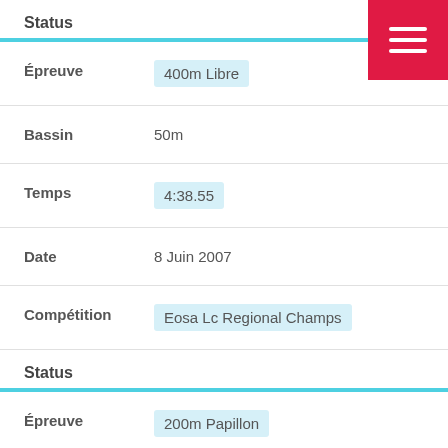Status
Épreuve: 400m Libre
Bassin: 50m
Temps: 4:38.55
Date: 8 Juin 2007
Compétition: Eosa Lc Regional Champs
Status
Épreuve: 200m Papillon
Bassin: 25m